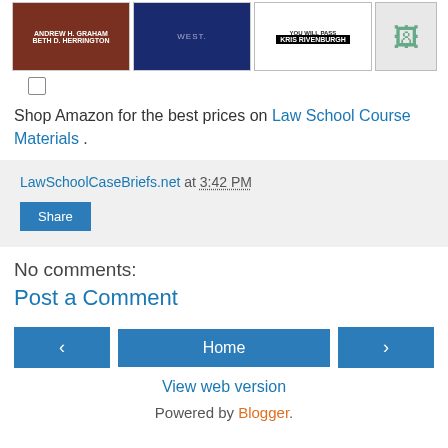[Figure (illustration): Row of four book thumbnail images for law school course materials]
Shop Amazon for the best prices on Law School Course Materials .
LawSchoolCaseBriefs.net at 3:42 PM
Share
No comments:
Post a Comment
Home
View web version
Powered by Blogger.